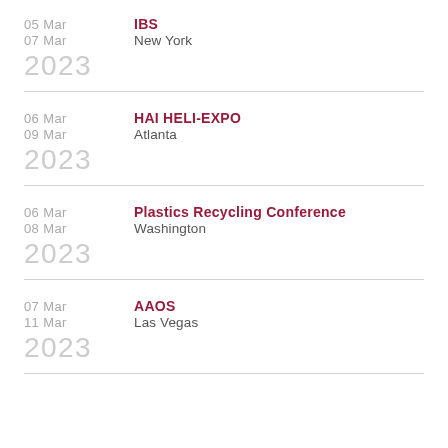05 Mar – 07 Mar | IBS | New York | 2023
06 Mar – 09 Mar | HAI HELI-EXPO | Atlanta | 2023
06 Mar – 08 Mar | Plastics Recycling Conference | Washington | 2023
07 Mar – 11 Mar | AAOS | Las Vegas | 2023